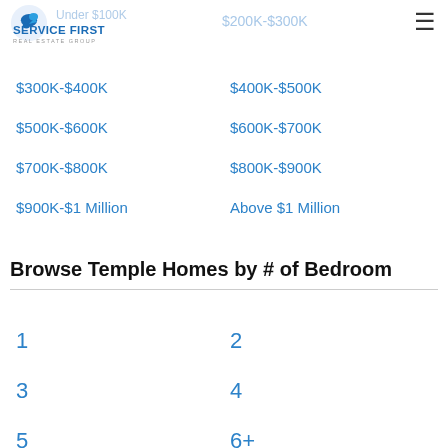[Figure (logo): Service First Real Estate Group logo with blue bird icon]
Under $100K
$200K-$300K
$300K-$400K
$400K-$500K
$500K-$600K
$600K-$700K
$700K-$800K
$800K-$900K
$900K-$1 Million
Above $1 Million
Browse Temple Homes by # of Bedroom
1
2
3
4
5
6+